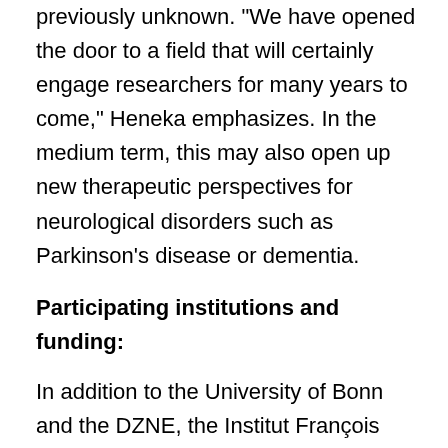previously unknown. "We have opened the door to a field that will certainly engage researchers for many years to come," Heneka emphasizes. In the medium term, this may also open up new therapeutic perspectives for neurological disorders such as Parkinson's disease or dementia.
Participating institutions and funding:
In addition to the University of Bonn and the DZNE, the Institut François Jacob (France) and the University of Massachusetts (USA) were involved in the study. The work was supported by the German Research Foundation (DFG/Cluster of Excellence Immunosensation), the EU Joint Program on Neurodegenerative Diseases (JPND), the EU Horizon